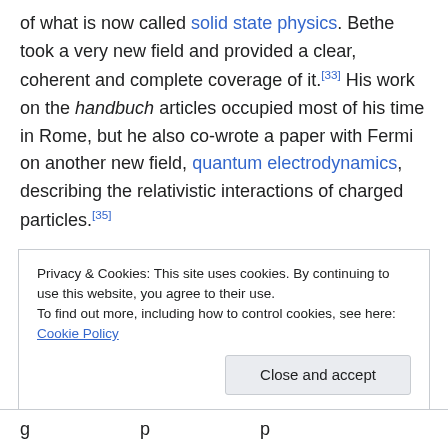of what is now called solid state physics. Bethe took a very new field and provided a clear, coherent and complete coverage of it.[33] His work on the handbuch articles occupied most of his time in Rome, but he also co-wrote a paper with Fermi on another new field, quantum electrodynamics, describing the relativistic interactions of charged particles.[35]
In 1932, Bethe accepted an appointment as an assistant professor at the University of Tübingen, where Hans Geiger was the professor of experimental physics.[36][37]
Privacy & Cookies: This site uses cookies. By continuing to use this website, you agree to their use. To find out more, including how to control cookies, see here: Cookie Policy